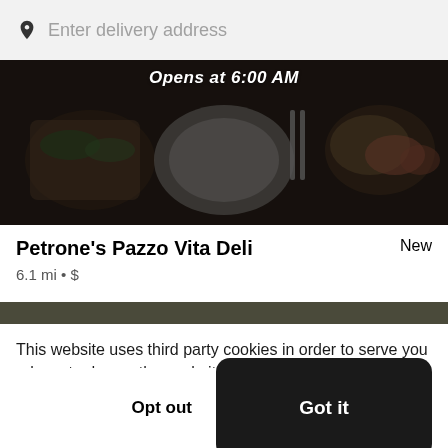Enter delivery address
[Figure (photo): Restaurant food photo showing plates of food on a dark wooden table, partially darkened overlay with text 'Opens at 6:00 AM']
Petrone's Pazzo Vita Deli
New
6.1 mi • $
[Figure (photo): Partial view of a second restaurant image strip]
This website uses third party cookies in order to serve you relevant ads on other websites. Learn more by visiting our Cookie Statement, or opt out of third party ad cookies using the button below.
Opt out
Got it